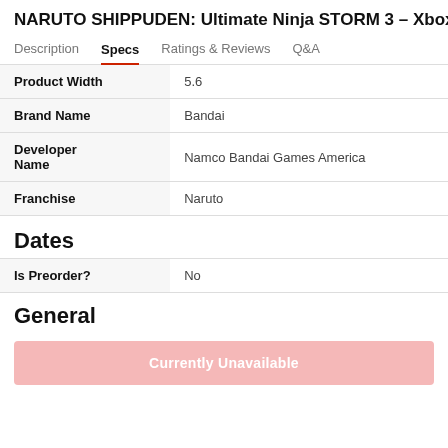NARUTO SHIPPUDEN: Ultimate Ninja STORM 3 - Xbox 3
Description | Specs | Ratings & Reviews | Q&A
| Attribute | Value |
| --- | --- |
| Product Width | 5.6 |
| Brand Name | Bandai |
| Developer Name | Namco Bandai Games America |
| Franchise | Naruto |
Dates
| Attribute | Value |
| --- | --- |
| Is Preorder? | No |
General
Currently Unavailable